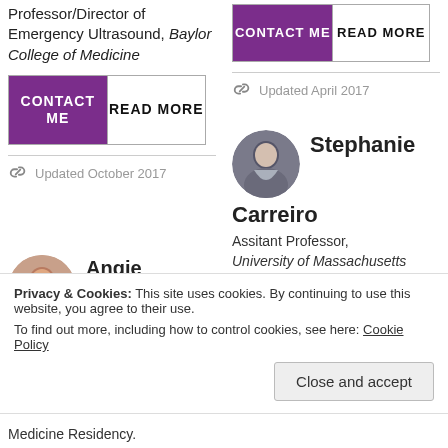Professor/Director of Emergency Ultrasound, Baylor College of Medicine
CONTACT ME | READ MORE
Updated October 2017
CONTACT ME | READ MORE
Updated April 2017
Stephanie Carreiro
Assitant Professor, University of Massachusetts Medical School
Angie Carrick, DO
Privacy & Cookies: This site uses cookies. By continuing to use this website, you agree to their use. To find out more, including how to control cookies, see here: Cookie Policy
Close and accept
Medicine Residency.